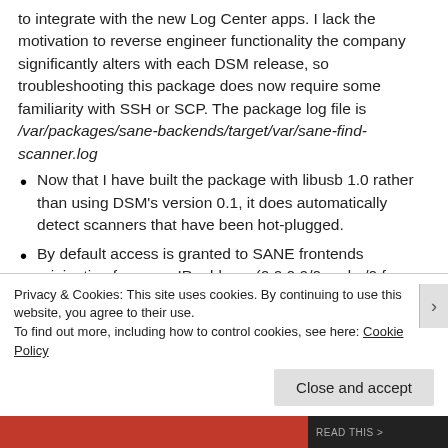to integrate with the new Log Center apps. I lack the motivation to reverse engineer functionality the company significantly alters with each DSM release, so troubleshooting this package does now require some familiarity with SSH or SCP. The package log file is /var/packages/sane-backends/target/var/sane-find-scanner.log
Now that I have built the package with libusb 1.0 rather than using DSM's version 0.1, it does automatically detect scanners that have been hot-plugged.
By default access is granted to SANE frontends originating from any IP address (0.0.0.0/0 and ::/0 for IPv6). This can be restricted by modifying
Privacy & Cookies: This site uses cookies. By continuing to use this website, you agree to their use.
To find out more, including how to control cookies, see here: Cookie Policy